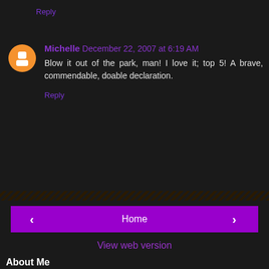Reply
Michelle December 22, 2007 at 6:19 AM
Blow it out of the park, man! I love it; top 5! A brave, commendable, doable declaration.
Reply
Home
View web version
About Me